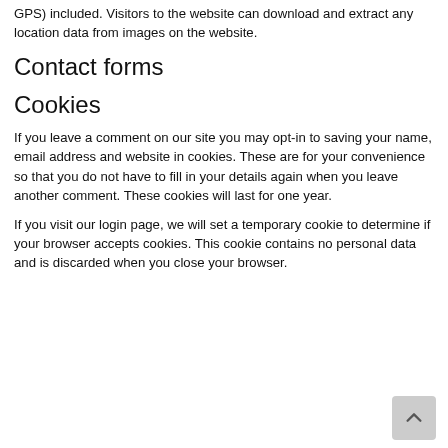GPS) included. Visitors to the website can download and extract any location data from images on the website.
Contact forms
Cookies
If you leave a comment on our site you may opt-in to saving your name, email address and website in cookies. These are for your convenience so that you do not have to fill in your details again when you leave another comment. These cookies will last for one year.
If you visit our login page, we will set a temporary cookie to determine if your browser accepts cookies. This cookie contains no personal data and is discarded when you close your browser.